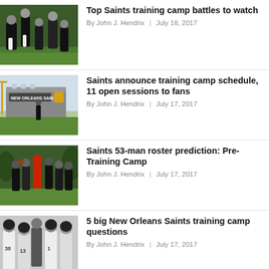[Figure (photo): Saints players at training camp practice outdoors]
Top Saints training camp battles to watch
By John J. Hendrix | July 18, 2017
[Figure (photo): New Orleans Saints facility exterior with signage]
Saints announce training camp schedule, 11 open sessions to fans
By John J. Hendrix | July 17, 2017
[Figure (photo): Saints players in practice drill on field]
Saints 53-man roster prediction: Pre-Training Camp
By John J. Hendrix | July 17, 2017
[Figure (photo): Saints players in helmets and jerseys on sideline]
5 big New Orleans Saints training camp questions
By John J. Hendrix | July 17, 2017